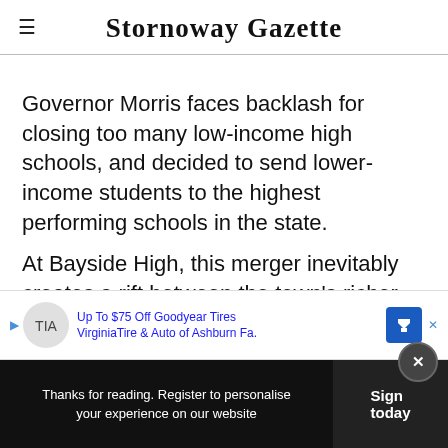Stornoway Gazette
Governor Morris faces backlash for closing too many low-income high schools, and decided to send lower-income students to the highest performing schools in the state.
At Bayside High, this merger inevitably creates a rift between the town's richer and poorer teena…
[Figure (other): Advertisement banner: Up To $75 Off Goodyear Tires - VirginiaTire & Auto of Ashburn Fa.]
Meanwhile, Zack's old friend A.C. Slater is…
Thanks for reading. Register to personalise your experience on our website | Sign today